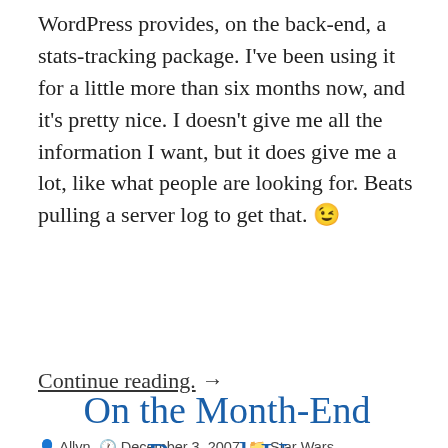WordPress provides, on the back-end, a stats-tracking package. I've been using it for a little more than six months now, and it's pretty nice. I doesn't give me all the information I want, but it does give me a lot, like what people are looking for. Beats pulling a server log to get that. 😉
Continue reading. →
Allyn  December 3, 2007  Star Wars  anakin-skywalker, search-phrases  2 Comments
On the Month-End Round-Up